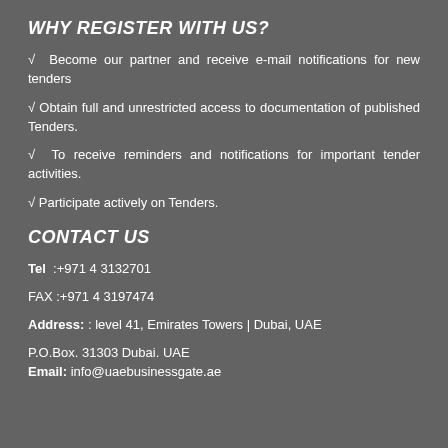WHY REGISTER WITH US?
√  Become our partner and receive e-mail notifications for new tenders
√ Obtain full and unrestricted access to documentation of published Tenders.
√  To receive reminders and notifications for important tender activities.
√ Participate actively on Tenders.
CONTACT US
Tel  :+971 4 3132701
FAX :+971 4 3197474
Address: : level 41, Emirates Towers | Dubai, UAE
P.O.Box. 31303 Dubai. UAE
Email: info@uaebusinessgate.ae